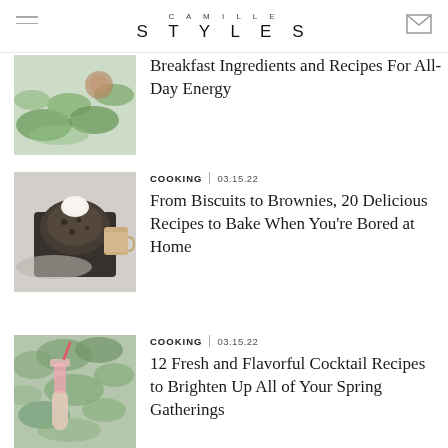CAMILLE STYLES
[Figure (photo): Overhead view of green leaves and a bowl, likely a smoothie or matcha ingredient setup]
Breakfast Ingredients and Recipes For All-Day Energy
COOKING  |  03.15.22
[Figure (photo): Overhead view of a cast iron skillet with a baked dessert topped with ice cream, with a mug of tea beside it]
From Biscuits to Brownies, 20 Delicious Recipes to Bake When You're Bored at Home
COOKING  |  03.15.22
[Figure (photo): Hand holding a pink cocktail glass surrounded by fuzzy green herbs, sage leaves]
12 Fresh and Flavorful Cocktail Recipes to Brighten Up All of Your Spring Gatherings